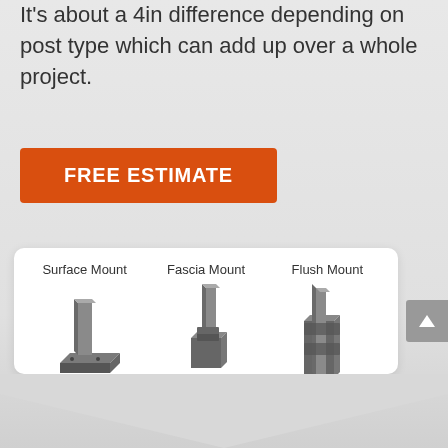It's about a 4in difference depending on post type which can add up over a whole project.
FREE ESTIMATE
[Figure (illustration): Three post mount types shown as isometric illustrations side by side in a white rounded card: Surface Mount (post on square base plate on deck surface), Fascia Mount (post clamped to vertical fascia board), Flush Mount (post embedded flush with fascia). Labels above each.]